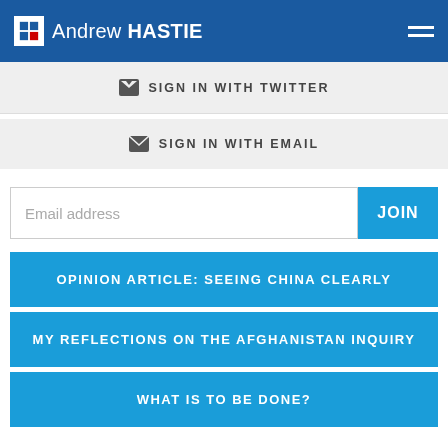Andrew HASTIE
SIGN IN WITH TWITTER
SIGN IN WITH EMAIL
Email address
JOIN
OPINION ARTICLE: SEEING CHINA CLEARLY
MY REFLECTIONS ON THE AFGHANISTAN INQUIRY
WHAT IS TO BE DONE?